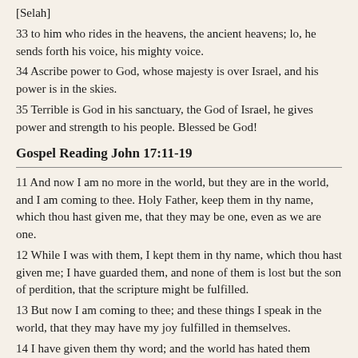[Selah]
33 to him who rides in the heavens, the ancient heavens; lo, he sends forth his voice, his mighty voice.
34 Ascribe power to God, whose majesty is over Israel, and his power is in the skies.
35 Terrible is God in his sanctuary, the God of Israel, he gives power and strength to his people. Blessed be God!
Gospel Reading John 17:11-19
11 And now I am no more in the world, but they are in the world, and I am coming to thee. Holy Father, keep them in thy name, which thou hast given me, that they may be one, even as we are one.
12 While I was with them, I kept them in thy name, which thou hast given me; I have guarded them, and none of them is lost but the son of perdition, that the scripture might be fulfilled.
13 But now I am coming to thee; and these things I speak in the world, that they may have my joy fulfilled in themselves.
14 I have given them thy word; and the world has hated them because they are not of the world, even as I am not of the world.
15 I do not pray that thou shouldst take them out of the world, but that thou shouldst keep them from the evil one.